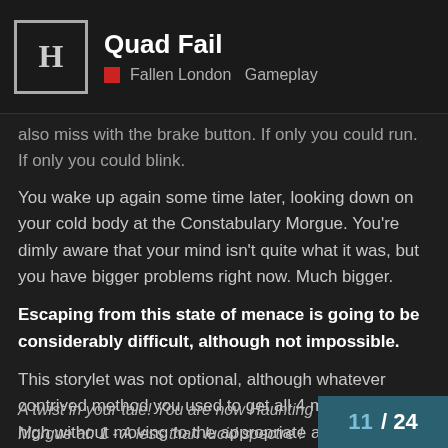Quad Fail — Fallen London · Gameplay
also miss with the brake button. If only you could run. If only you could blink.
You wake up again some time later, looking down on your cold body at the Constabulary Morgue. You're dimly aware that your mind isn't quite what it was, but you have bigger problems right now. Much bigger.
Escaping from this state of menace is going to be considerably difficult, although not impossible.
This storylet was not optional, although whatever contrived method you used to get all 4 menaces so high without moving to the appropriate area must have been. Reduce all 4 menace levels to 0 to escape…
A twist in your tale! You are now Haunting Morgue at: 1 - A less than lucid spectre !
11 / 24